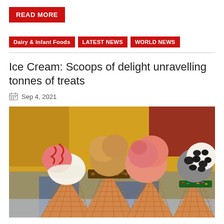READ MORE
Dairy & Infant Foods
LATEST NEWS
WORLD NEWS
Ice Cream: Scoops of delight unravelling tonnes of treats
Sep 4, 2021
[Figure (photo): Four ice cream cones lined up side by side: strawberry with red syrup, caramel/vanilla with nut coating, pink/strawberry scoops, and cookies-and-cream with rainbow sprinkles, set against a colorful blurred background.]